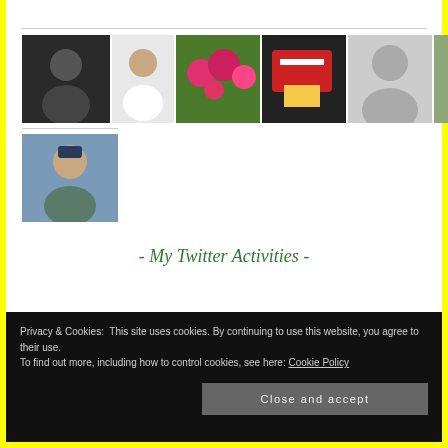[Figure (photo): Row of profile photos of various people including a dark-haired man, bald man, flowers, food/red sign, silhouette, Asian man in uniform, red-haired woman, older man, blonde woman]
[Figure (photo): Single profile photo of a bearded man wearing a hat outdoors]
- My Twitter Activities -
Privacy & Cookies: This site uses cookies. By continuing to use this website, you agree to their use.
To find out more, including how to control cookies, see here: Cookie Policy
Close and accept